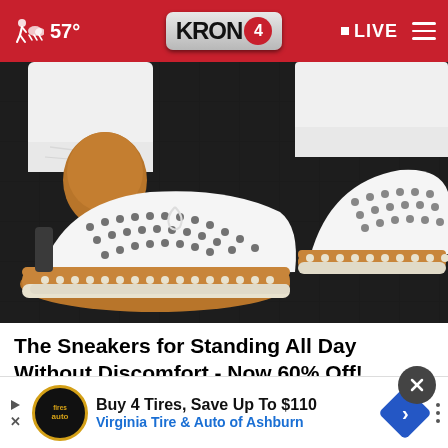57° KRON4 LIVE
[Figure (photo): Close-up photo of feet wearing white perforated slip-on sneakers with tan/caramel soles and white pants, on a dark pavement background]
The Sneakers for Standing All Day Without Discomfort - Now 60% Off!
Sursell
[Figure (other): Close button (X) in dark circle at bottom right of content area]
[Figure (other): Bottom advertisement banner: Virginia Tire & Auto logo, text 'Buy 4 Tires, Save Up To $110' and 'Virginia Tire & Auto of Ashburn' with navigation arrows]